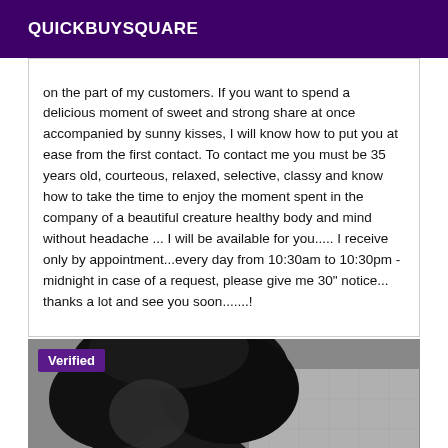QUICKBUYSQUARE
on the part of my customers. If you want to spend a delicious moment of sweet and strong share at once accompanied by sunny kisses, I will know how to put you at ease from the first contact. To contact me you must be 35 years old, courteous, relaxed, selective, classy and know how to take the time to enjoy the moment spent in the company of a beautiful creature healthy body and mind without headache ... I will be available for you..... I receive only by appointment...every day from 10:30am to 10:30pm - midnight in case of a request, please give me 30" notice... thanks a lot and see you soon.......!
[Figure (photo): Black and white photo of a person with dark curly hair, with a purple 'Verified' badge overlay in the top-left corner]